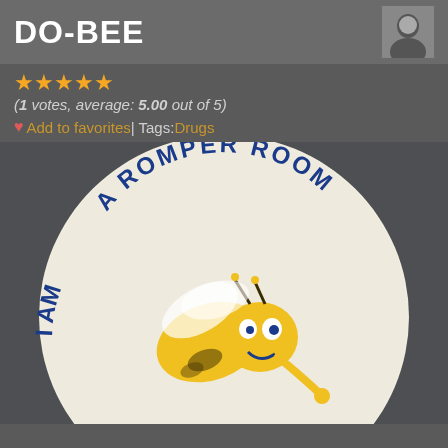DO-BEE
1 votes, average: 5.00 out of 5
Add to favorites | Tags: Drugs
[Figure (photo): A white circular pin/button featuring a cartoon bee character (Do-Bee from Romper Room) with yellow coloring and blue text reading 'I AM A ROMPER ROOM DO-BEE' around the edge, photographed on a dark gray background.]